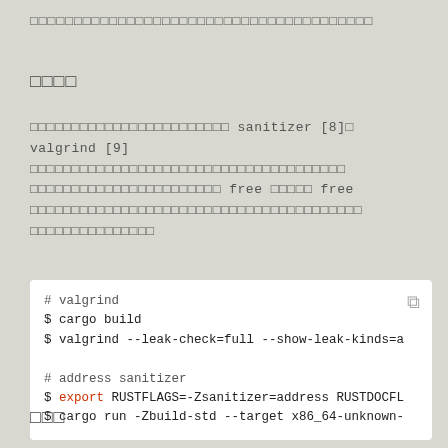□□□□□□□□□□□□□□□□□□□□□□□□□□□□□□□□□□□□□□□
□□□□
□□□□□□□□□□□□□□□□□□□□□□□□ sanitizer [8]□ valgrind [9] □□□□□□□□□□□□□□□□□□□□□□□□□□□□□□□□□□□□□□□□□□□□□□□□□□□□□□□□□ free □□□□□ free □□□□□□□□□□□□□□□□□□□□□□□□□□□□□□□□□□□□□□□□□□□□□□□□□□□□□□□
# valgrind
$ cargo build
$ valgrind --leak-check=full --show-leak-kinds=a

# address sanitizer
$ export RUSTFLAGS=-Zsanitizer=address RUSTDOCFL
$ cargo run -Zbuild-std --target x86_64-unknown-
□□□